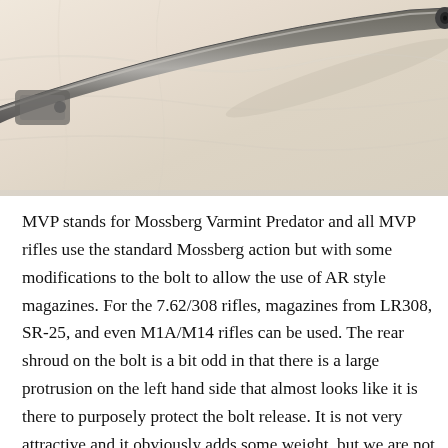[Figure (photo): Close-up photograph of a rifle barrel and bolt mechanism resting on a light beige/cream fabric background. The dark metal barrel extends diagonally from upper left to upper right, with the muzzle visible at the right edge.]
MVP stands for Mossberg Varmint Predator and all MVP rifles use the standard Mossberg action but with some modifications to the bolt to allow the use of AR style magazines. For the 7.62/308 rifles, magazines from LR308, SR-25, and even M1A/M14 rifles can be used. The rear shroud on the bolt is a bit odd in that there is a large protrusion on the left hand side that almost looks like it is there to purposely protect the bolt release. It is not very attractive and it obviously adds some weight, but we are not sure why the bolt release needs to be shrouded or protected? There are several other bolt actions on